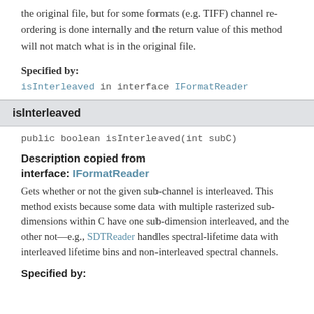the original file, but for some formats (e.g. TIFF) channel re-ordering is done internally and the return value of this method will not match what is in the original file.
Specified by:
isInterleaved in interface IFormatReader
isInterleaved
public boolean isInterleaved(int subC)
Description copied from interface: IFormatReader
Gets whether or not the given sub-channel is interleaved. This method exists because some data with multiple rasterized sub-dimensions within C have one sub-dimension interleaved, and the other not—e.g., SDTReader handles spectral-lifetime data with interleaved lifetime bins and non-interleaved spectral channels.
Specified by: